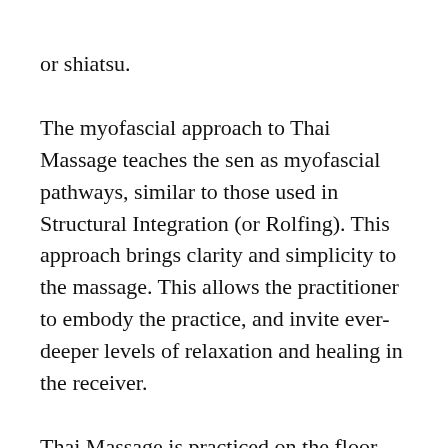or shiatsu.
The myofascial approach to Thai Massage teaches the sen as myofascial pathways, similar to those used in Structural Integration (or Rolfing). This approach brings clarity and simplicity to the massage. This allows the practitioner to embody the practice, and invite ever-deeper levels of relaxation and healing in the receiver.
Thai Massage is practiced on the floor. There is no need for oil so the receiver can remain lightly clothed. This makes it one of the most versatile and portable massage techniques available. Many of the techniques can also be integrated into couch based massage